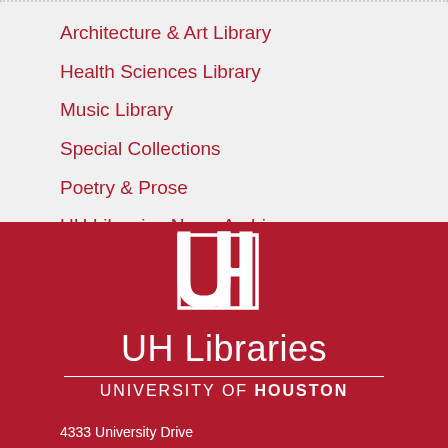Architecture & Art Library
Health Sciences Library
Music Library
Special Collections
Poetry & Prose
UH Libraries News Archives
[Figure (logo): University of Houston interlocking UH logo in white on red background]
UH Libraries
UNIVERSITY OF HOUSTON
4333 University Drive